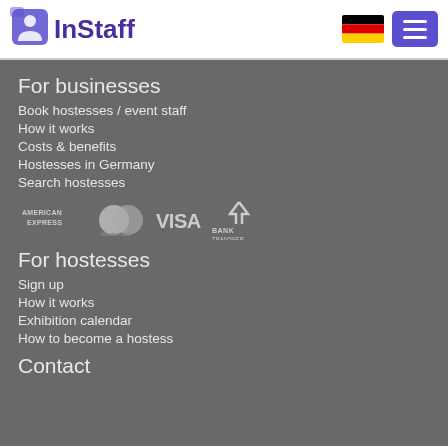InStaff
For businesses
Book hostesses / event staff
How it works
Costs & benefits
Hostesses in Germany
Search hostesses
[Figure (logo): Payment method logos: American Express, MasterCard, VISA, Bank Transfer]
For hostesses
Sign up
How it works
Exhibition calendar
How to become a hostess
Contact